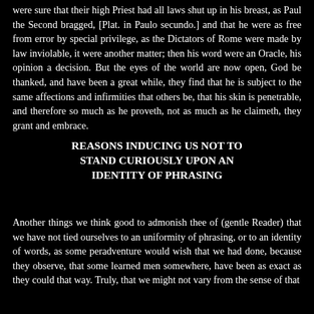were sure that their high Priest had all laws shut up in his breast, as Paul the Second bragged, [Plat. in Paulo secundo.] and that he were as free from error by special privilege, as the Dictators of Rome were made by law inviolable, it were another matter; then his word were an Oracle, his opinion a decision. But the eyes of the world are now open, God be thanked, and have been a great while, they find that he is subject to the same affections and infirmities that others be, that his skin is penetrable, and therefore so much as he proveth, not as much as he claimeth, they grant and embrace.
REASONS INDUCING US NOT TO STAND CURIOUSLY UPON AN IDENTITY OF PHRASING
Another things we think good to admonish thee of (gentle Reader) that we have not tied ourselves to an uniformity of phrasing, or to an identity of words, as some peradventure would wish that we had done, because they observe, that some learned men somewhere, have been as exact as they could that way. Truly, that we might not vary from the sense of that